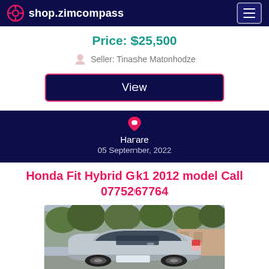shop.zimcompass
Price: $25,500
Seller: Tinashe Matonhodze
View
Harare
05 September, 2022
Honda Fit Hybrid Gk1 2012 model Call 0775267764
[Figure (photo): Silver Honda Fit Hybrid car photographed from the rear three-quarter angle, parked outdoors with trees and a wall visible in the background.]